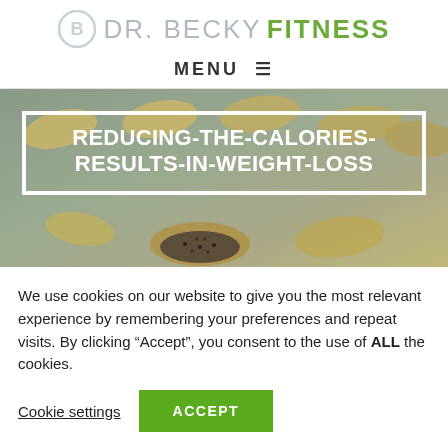DR. BECKY FITNESS
MENU
[Figure (photo): Hero banner image showing wooden spoons with various seeds (chia, nuts) on a gray-green background, with white-bordered title box overlaid reading: REDUCING-THE-CALORIES-RESULTS-IN-WEIGHT-LOSS]
REDUCING-THE-CALORIES-RESULTS-IN-WEIGHT-LOSS
We use cookies on our website to give you the most relevant experience by remembering your preferences and repeat visits. By clicking “Accept”, you consent to the use of ALL the cookies.
Cookie settings   ACCEPT